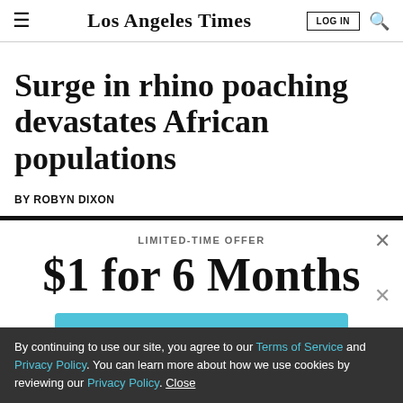Los Angeles Times — LOG IN
Surge in rhino poaching devastates African populations
BY ROBYN DIXON
LIMITED-TIME OFFER
$1 for 6 Months
SUBSCRIBE NOW
By continuing to use our site, you agree to our Terms of Service and Privacy Policy. You can learn more about how we use cookies by reviewing our Privacy Policy. Close